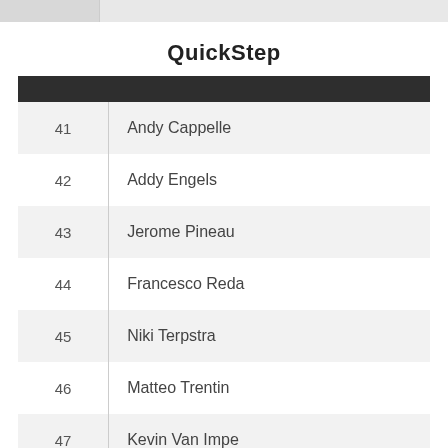QuickStep
|  |  |
| --- | --- |
| 41 | Andy Cappelle |
| 42 | Addy Engels |
| 43 | Jerome Pineau |
| 44 | Francesco Reda |
| 45 | Niki Terpstra |
| 46 | Matteo Trentin |
| 47 | Kevin Van Impe |